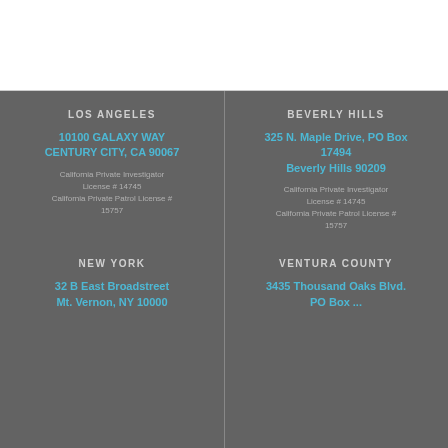LOS ANGELES
10100 GALAXY WAY
CENTURY CITY, CA 90067
California Private Investigator License # 14745
California Private Patrol License # 15757
BEVERLY HILLS
325 N. Maple Drive, PO Box 17494
Beverly Hills 90209
California Private Investigator License # 14745
California Private Patrol License # 15757
NEW YORK
32 B East Broadstreet
Mt. Vernon, NY 10000
VENTURA COUNTY
3435 Thousand Oaks Blvd.
PO Box ...